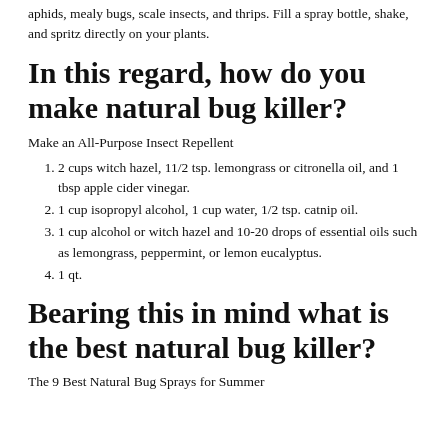aphids, mealy bugs, scale insects, and thrips. Fill a spray bottle, shake, and spritz directly on your plants.
In this regard, how do you make natural bug killer?
Make an All-Purpose Insect Repellent
2 cups witch hazel, 11/2 tsp. lemongrass or citronella oil, and 1 tbsp apple cider vinegar.
1 cup isopropyl alcohol, 1 cup water, 1/2 tsp. catnip oil.
1 cup alcohol or witch hazel and 10-20 drops of essential oils such as lemongrass, peppermint, or lemon eucalyptus.
1 qt.
Bearing this in mind what is the best natural bug killer?
The 9 Best Natural Bug Sprays for Summer